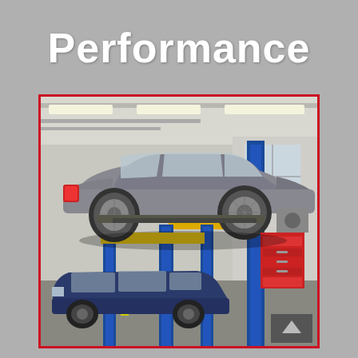Performance
[Figure (photo): An automotive shop interior showing a gray sedan elevated on a blue two-post hydraulic lift (branded Rotary) with a blue SUV/crossover parked below it. The shop has fluorescent ceiling lights, tool chests in the background, and various automotive equipment. The photo is framed with a red border.]